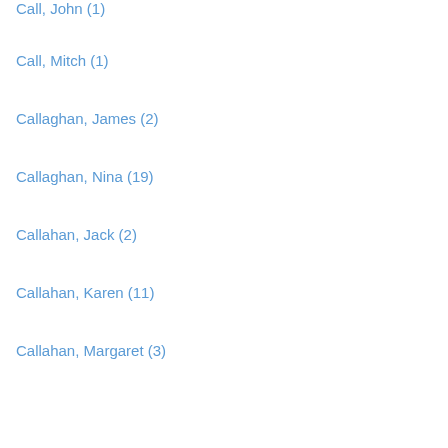Call, John (1)
Call, Mitch (1)
Callaghan, James (2)
Callaghan, Nina (19)
Callahan, Jack (2)
Callahan, Karen (11)
Callahan, Margaret (3)